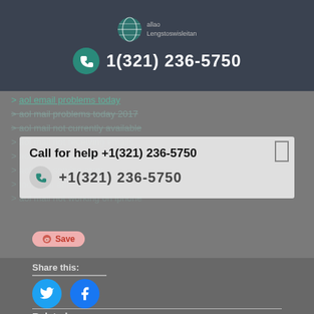[Figure (logo): Globe with network lines logo with text beside it]
1(321) 236-5750
> aol email problems today
> aol mail problems today 2017
> aol mail not currently available
> aol mail not receiving emails
> aol not responding
> aol mail service error
> today on aol
> aol mail not working on iphone
Call for help +1(321) 236-5750
+1(321) 236-5750
Save
Share this:
[Figure (illustration): Twitter and Facebook social media circular icon buttons]
Related